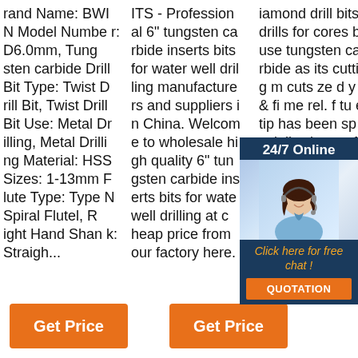rand Name: BWI N Model Number: D6.0mm, Tungsten carbide Drill Bit Type: Twist Drill Bit, Twist Drill Bit Use: Metal Drilling, Metal Drilling Material: HSS Sizes: 1-13mm Flute Type: Type N Spiral Flutel, Right Hand Shank: Straigh...
ITS - Professional 6" tungsten carbide inserts bits for water well drilling manufacturers and suppliers in China. Welcome to wholesale high quality 6" tungsten carbide inserts bits for water well drilling at cheap price from our factory here.
iamond drill bits, drills for cores but use tungsten carbide as its cutting material cuts ze diamond y and & fits me rel. f tungsten e tip has been specially chosen for rotary core drilling to give high
[Figure (infographic): Customer service widget overlay: dark navy background with '24/7 Online' header, photo of smiling woman with headset, 'Click here for free chat!' in orange text, orange QUOTATION button]
Get Price
Get Price